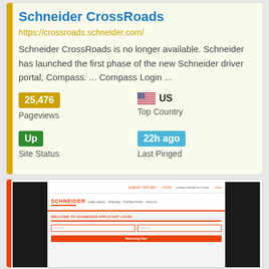Schneider CrossRoads
https://crossroads.schneider.com/
Schneider CrossRoads is no longer available. Schneider has launched the first phase of the new Schneider driver portal, Compass. ... Compass Login ...
25,476 Pageviews
US Top Country
Up Site Status
22h ago Last Pinged
[Figure (screenshot): Screenshot of the Schneider applicant login portal website, showing the orange Schneider logo, navigation links (Lease Options, Financing, Purchase Power, About Us), and a Welcome to Schneider Applicant Login form with username and password fields and a button, flanked by black bars on each side.]